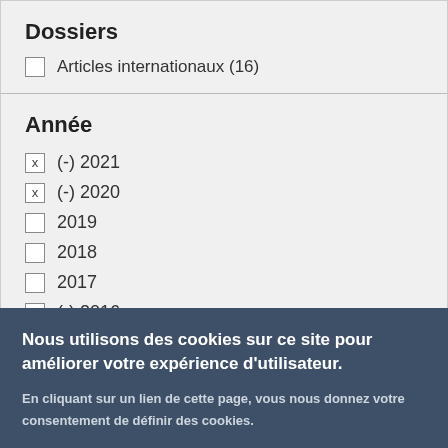Dossiers
Articles internationaux (16)
Année
(-) 2021
(-) 2020
2019
2018
2017
(-) 2016
Nous utilisons des cookies sur ce site pour améliorer votre expérience d'utilisateur.
En cliquant sur un lien de cette page, vous nous donnez votre consentement de définir des cookies.